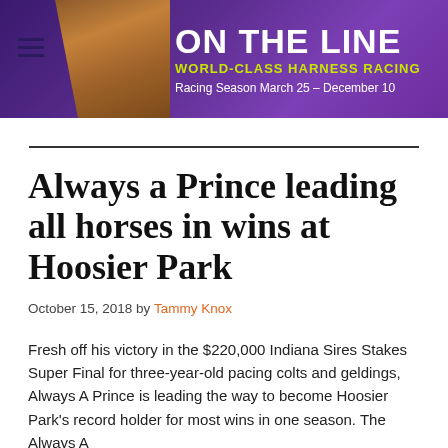[Figure (illustration): Banner for Hoosier Park 'On The Line' World-Class Harness Racing with horse image, purple background, yellow-green subtitle text, and season dates March 25 - December 10]
Always a Prince leading all horses in wins at Hoosier Park
October 15, 2018 by Tammy Knox
Fresh off his victory in the $220,000 Indiana Sires Stakes Super Final for three-year-old pacing colts and geldings, Always A Prince is leading the way to become Hoosier Park's record holder for most wins in one season. The Always A